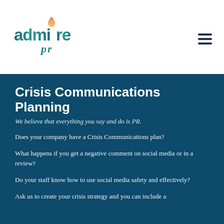[Figure (logo): Admire PR logo with stylized candle flame above the 'i' in 'admire', teal and gold gradient text, 'pr' in cursive below]
Crisis Communications Planning
We believe that everything you say and do is PR.
Does your company have a Crisis Communications plan?
What happens if you get a negative comment on social media or in a review?
Do your staff know how to use social media safety and effectively?
Ask us to create your crisis strategy and you can include a